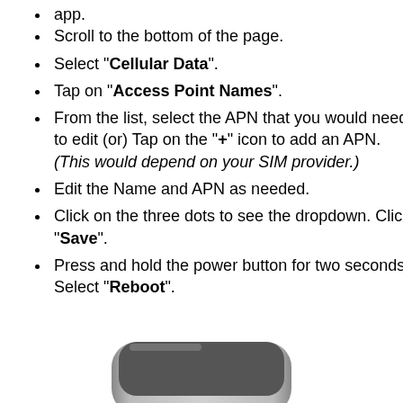app.
Scroll to the bottom of the page.
Select "Cellular Data".
Tap on "Access Point Names".
From the list, select the APN that you would need to edit (or) Tap on the "+" icon to add an APN. (This would depend on your SIM provider.)
Edit the Name and APN as needed.
Click on the three dots to see the dropdown. Click "Save".
Press and hold the power button for two seconds. Select "Reboot".
[Figure (photo): Bottom portion of a smartphone (gray/silver device) shown from the top, cropped at the bottom of the page.]